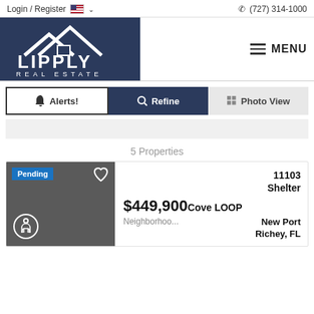Login / Register  🇺🇸 ∨    ☎ (727) 314-1000
[Figure (logo): Lipply Real Estate logo — white house/roof icon over text LIPPLY REAL ESTATE on dark navy background]
≡ MENU
🔔 Alerts!   🔍 Refine   ⊞ Photo View
5 Properties
Pending
11103 Shelter Cove LOOP
$449,900
Neighborhoo...
New Port Richey, FL